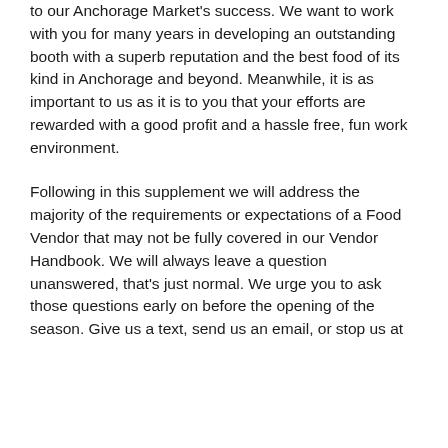to our Anchorage Market's success. We want to work with you for many years in developing an outstanding booth with a superb reputation and the best food of its kind in Anchorage and beyond. Meanwhile, it is as important to us as it is to you that your efforts are rewarded with a good profit and a hassle free, fun work environment.
Following in this supplement we will address the majority of the requirements or expectations of a Food Vendor that may not be fully covered in our Vendor Handbook. We will always leave a question unanswered, that's just normal. We urge you to ask those questions early on before the opening of the season. Give us a text, send us an email, or stop us at